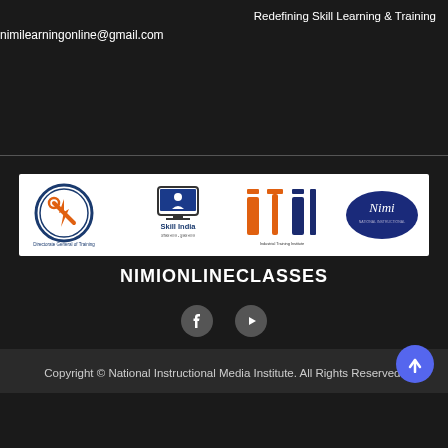Redefining Skill Learning & Training
nimilearningonline@gmail.com
[Figure (logo): Banner with logos: Directorate General of Training, Skill India, Industrial Training Institute, NIMI]
NIMIONLINECLASSES
[Figure (other): Facebook and YouTube social media icons]
Copyright © National Instructional Media Institute. All Rights Reserved.